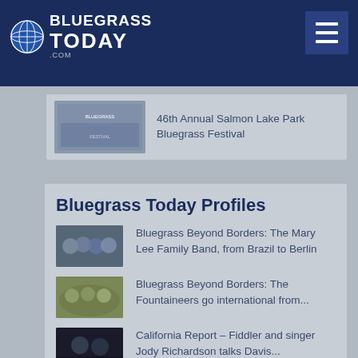Bluegrass Today
[Figure (screenshot): Thumbnail image for 46th Annual Salmon Lake Park Bluegrass Festival]
46th Annual Salmon Lake Park Bluegrass Festival
Bluegrass Today Profiles
[Figure (photo): Band photo thumbnail for Bluegrass Beyond Borders: The Mary Lee Family Band]
Bluegrass Beyond Borders: The Mary Lee Family Band, from Brazil to Berlin
[Figure (photo): Band photo thumbnail for Bluegrass Beyond Borders: The Fountaineers]
Bluegrass Beyond Borders: The Fountaineers go international from...
[Figure (photo): Photo thumbnail for California Report – Fiddler and singer Jody Richardson]
California Report – Fiddler and singer Jody Richardson talks Davis...
[Figure (photo): Photo thumbnail for Nora Brown profile]
Nora Brown – digging at her young roots with finesse
[Figure (photo): Photo thumbnail for Bluegrass Beyond Borders: Just As Blue]
Bluegrass Beyond Borders: Just As Blue puts a Swedish spin on their...